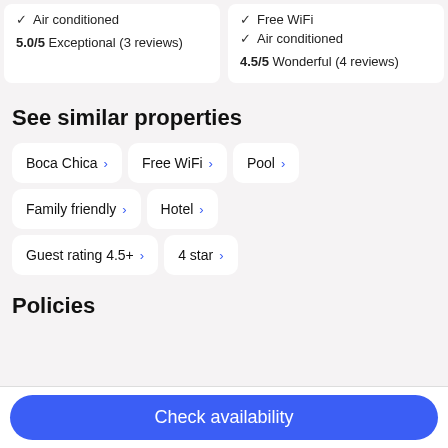Air conditioned
5.0/5 Exceptional (3 reviews)
Free WiFi
Air conditioned
4.5/5 Wonderful (4 reviews)
See similar properties
Boca Chica ›
Free WiFi ›
Pool ›
Family friendly ›
Hotel ›
Guest rating 4.5+ ›
4 star ›
Policies
Check availability